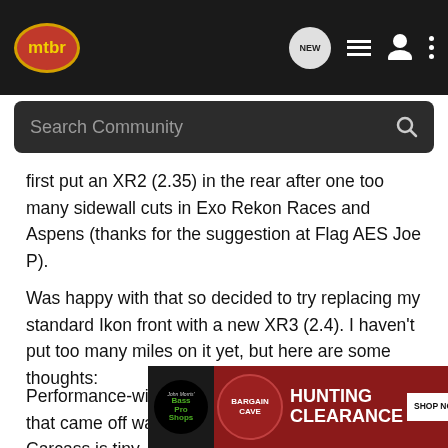mtbr — navigation bar with search
first put an XR2 (2.35) in the rear after one too many sidewall cuts in Exo Rekon Races and Aspens (thanks for the suggestion at Flag AES Joe P).
Was happy with that so decided to try replacing my standard Ikon front with a new XR3 (2.4). I haven't put too many miles on it yet, but here are some thoughts:
Performance-wise pretty pleased, though my Ikon that came off was shagged so difficult comparison. Carcass is tiny, if XR2 is a true 2.35, the XR3 is ~2.25. Mine had some weird knob cracking upon airing up, but no performance issues and knobs haven't torn off like I feared they might. Relative to Exo I seem to have
[Figure (advertisement): Bass Pro Shops Hunting Clearance Bargain Cave advertisement banner with shop now button]